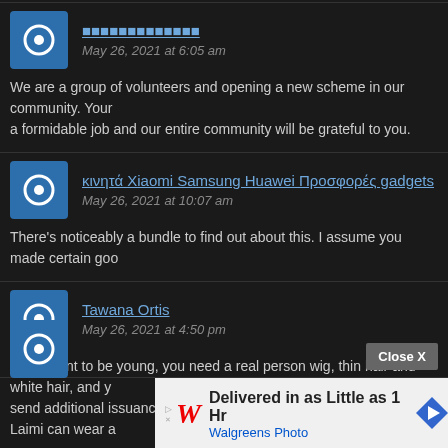████████████████
May 26, 2021 at 6:05 am

We are a group of volunteers and opening a new scheme in our community. Your a formidable job and our entire community will be grateful to you.
κινητά Xiaomi Samsung Huawei Προσφορές gadgets
May 26, 2021 at 10:07 am

There's noticeably a bundle to find out about this. I assume you made certain goo
Tawana Ortis
May 26, 2021 at 4:50 pm

If you want to be young, you need a real person wig, thin hair and white hair, and y send additional issuance! Want to change hairstyle anytime? Do Laimi can wear a
Close X
[Figure (illustration): Walgreens Photo advertisement banner: 'Delivered in as Little as 1 Hr / Walgreens Photo' with Walgreens W logo and diamond navigation arrow icon.]